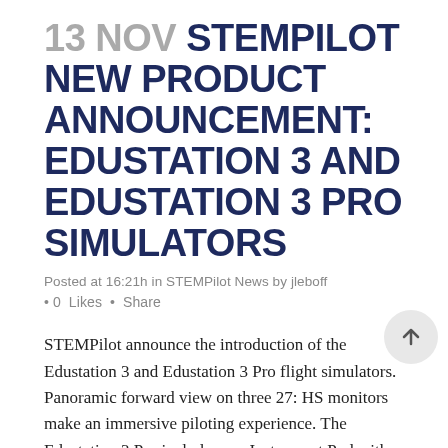13 NOV STEMPILOT NEW PRODUCT ANNOUNCEMENT: EDUSTATION 3 AND EDUSTATION 3 PRO SIMULATORS
Posted at 16:21h in STEMPilot News by jleboff
• 0  Likes  • Share
STEMPilot announce the introduction of the Edustation 3 and Edustation 3 Pro flight simulators. Panoramic forward view on three 27: HS monitors make an immersive piloting experience. The Edustation 3 Pro includes our Instrument Pod with Hand On NAV & COM Radios, Auto Pilot